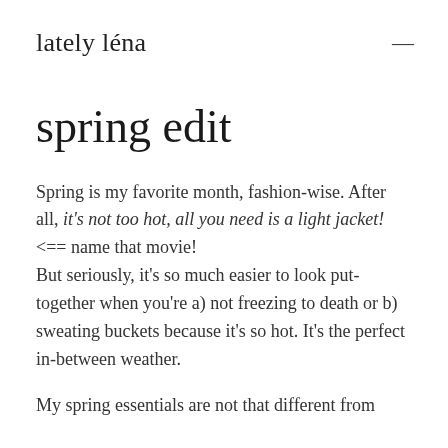lately léna
spring edit
Spring is my favorite month, fashion-wise. After all, it's not too hot, all you need is a light jacket! <== name that movie!
But seriously, it's so much easier to look put-together when you're a) not freezing to death or b) sweating buckets because it's so hot. It's the perfect in-between weather.
My spring essentials are not that different from